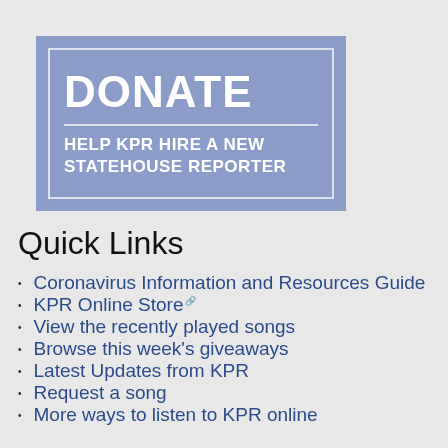[Figure (other): Donate banner with blue/purple background and white text reading DONATE / HELP KPR HIRE A NEW STATEHOUSE REPORTER]
Quick Links
Coronavirus Information and Resources Guide
KPR Online Store
View the recently played songs
Browse this week's giveaways
Latest Updates from KPR
Request a song
More ways to listen to KPR online